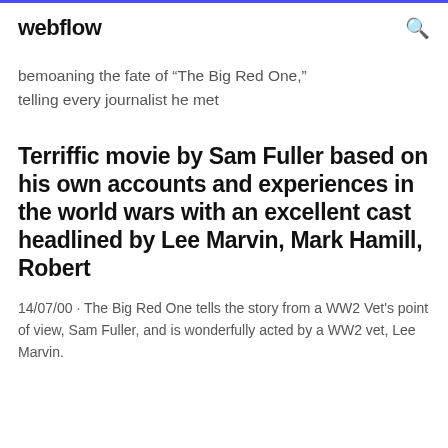webflow
bemoaning the fate of “The Big Red One,” telling every journalist he met
Terriffic movie by Sam Fuller based on his own accounts and experiences in the world wars with an excellent cast headlined by Lee Marvin, Mark Hamill, Robert
14/07/00 · The Big Red One tells the story from a WW2 Vet's point of view, Sam Fuller, and is wonderfully acted by a WW2 vet, Lee Marvin.